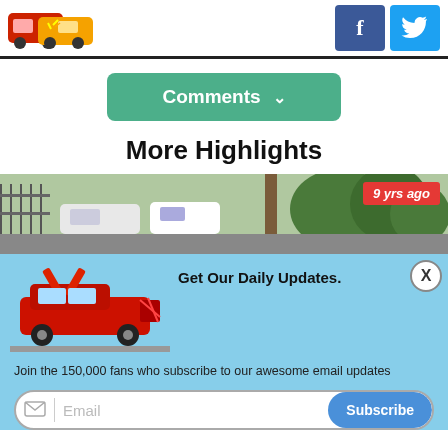[Figure (screenshot): Website header with crashed cars logo and Facebook and Twitter social media icons]
Comments ∨
More Highlights
[Figure (photo): Photo of a car accident scene with multiple cars; badge showing '9 yrs ago']
[Figure (photo): Red Lamborghini with doors open, damaged front]
Get Our Daily Updates.
Join the 150,000 fans who subscribe to our awesome email updates
Email
Subscribe